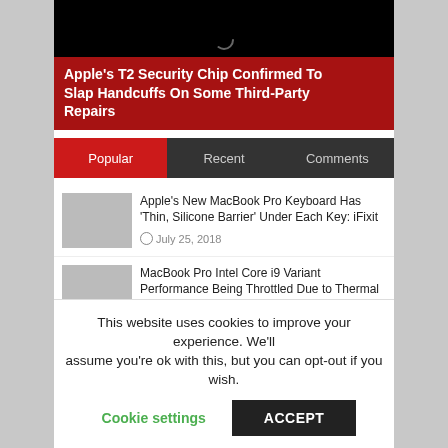[Figure (screenshot): Hero image: black background with a loading spinner icon visible]
Apple’s T2 Security Chip Confirmed To Slap Handcuffs On Some Third-Party Repairs
Popular | Recent | Comments
Apple’s New MacBook Pro Keyboard Has ‘Thin, Silicone Barrier’ Under Each Key: iFixit
July 25, 2018
MacBook Pro Intel Core i9 Variant Performance Being Throttled Due to Thermal Issues: Reports
This website uses cookies to improve your experience. We’ll assume you’re ok with this, but you can opt-out if you wish.
Cookie settings    ACCEPT